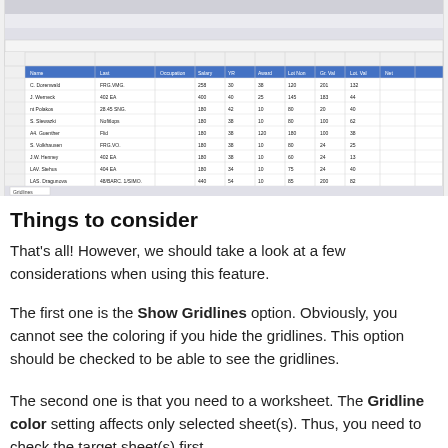[Figure (screenshot): Excel spreadsheet screenshot showing a worksheet with data in multiple columns including names, dates, and numeric values, with blue header row and standard Excel ribbon interface]
Things to consider
That's all! However, we should take a look at a few considerations when using this feature.
The first one is the Show Gridlines option. Obviously, you cannot see the coloring if you hide the gridlines. This option should be checked to be able to see the gridlines.
The second one is that you need to a worksheet. The Gridline color setting affects only selected sheet(s). Thus, you need to check the target sheet(s) first.